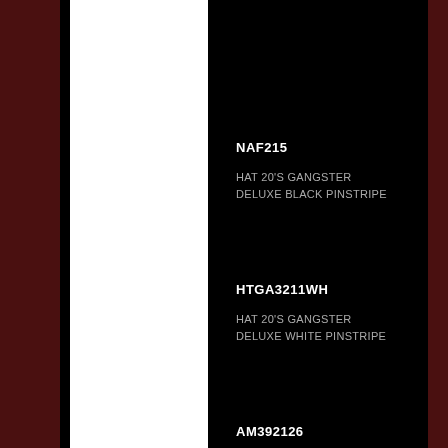NAF215
HAT 20'S GANGSTER DELUXE BLACK PINSTRIPE
HTGA3211WH
HAT 20'S GANGSTER DELUXE WHITE PINSTRIPE
AM392126
HAT 20'S GANGSTER SATIN BLACK WITH WHITE BAND